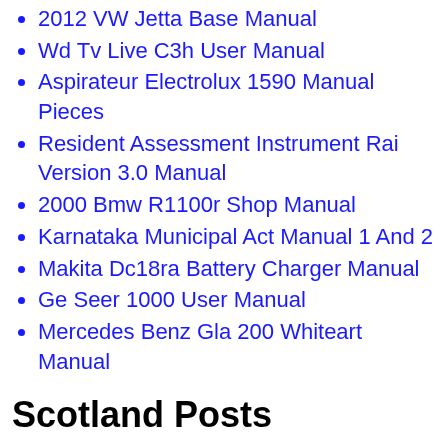2012 VW Jetta Base Manual
Wd Tv Live C3h User Manual
Aspirateur Electrolux 1590 Manual Pieces
Resident Assessment Instrument Rai Version 3.0 Manual
2000 Bmw R1100r Shop Manual
Karnataka Municipal Act Manual 1 And 2
Makita Dc18ra Battery Charger Manual
Ge Seer 1000 User Manual
Mercedes Benz Gla 200 Whiteart Manual
Scotland Posts
Turf Trac 8 32 Manual
Simoniz Pressure Washer Instruction Manual 2350
2015 Corolla Owners Manual States No Towing Or Bike Back